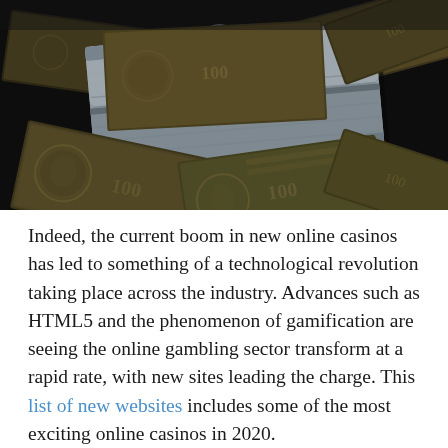[Figure (photo): A metal briefcase filled with and surrounded by scattered US $100 dollar bills on a dark background]
Indeed, the current boom in new online casinos has led to something of a technological revolution taking place across the industry. Advances such as HTML5 and the phenomenon of gamification are seeing the online gambling sector transform at a rapid rate, with new sites leading the charge. This list of new websites includes some of the most exciting online casinos in 2020.